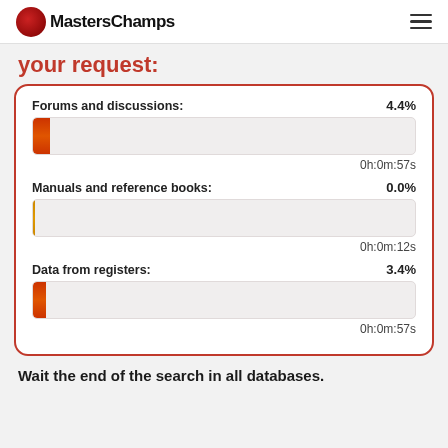MastersChamps
your request:
[Figure (bar-chart): Progress bars for three search categories with percentage and time remaining labels]
Wait the end of the search in all databases.